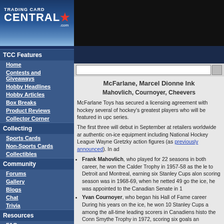[Figure (logo): TradingCardCentral.com logo with red star on blue background]
TCC Features
Home
Contests and Giveaways
Hobby Headlines
Hobby Articles
Box Breaks
Product Reviews
Collector Corner
Collecting
Sports Cards
Non-Sports Cards
Collectibles
Community
Forums
Gallery
Blogs
Chat
Trivia
Resources
FAQ
Contact Us
NPN Offers
Price Guides
Grading
McFarlane, Marcel Dionne Ink
Mahovlich, Cournoyer, Cheevers
McFarlane Toys has secured a licensing agreement with hockey several of hockey's greatest players who will be featured in upcoming series.
The first three will debut in September at retailers worldwide and authentic on-ice equipment including National Hockey League Wayne Gretzky action figures (as previously announced). In addition:
Frank Mahovlich, who played for 22 seasons in both career, he won the Calder Trophy in 1957-58 as the le to Detroit and Montreal, earning six Stanley Cups alon scoring season was in 1968-69, when he netted 49 go the ice, he was appointed to the Canadian Senate in 1
Yvan Cournoyer, who began his Hall of Fame career During his years on the ice, he won 10 Stanley Cups a among the all-time leading scorers in Canadiens histo the Conn Smythe Trophy in 1972, scoring six goals an
Gerry Cheevers, who played 19 seasons from 1961 to Hall of Fame career, he was the net minder for the Bru one of the best career playoff marks in NHL history at